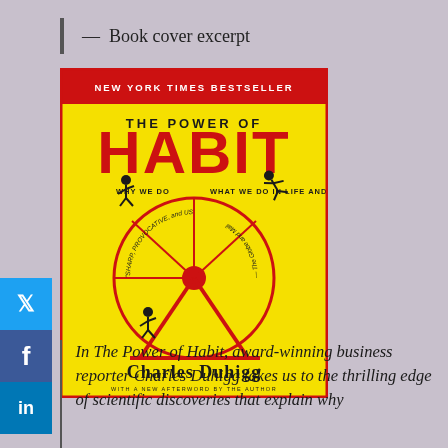— Book cover excerpt
[Figure (illustration): Book cover of 'The Power of Habit' by Charles Duhigg. Yellow background with red banner at top reading 'NEW YORK TIMES BESTSELLER'. Large red text reads 'THE POWER OF HABIT'. Subtitle: 'WHY WE DO WHAT WE DO IN LIFE AND BUSINESS'. Features a hamster wheel illustration with stick figures running. Author name 'Charles Duhigg' at bottom.]
In The Power of Habit, award-winning business reporter Charles Duhigg takes us to the thrilling edge of scientific discoveries that explain why